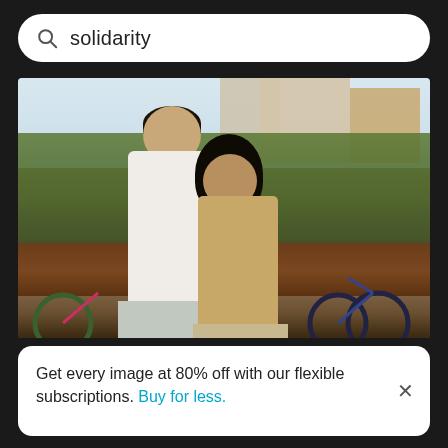solidarity
[Figure (photo): Two young people standing back-to-back outdoors near a bicycle. A tall young man in a white t-shirt and gray shorts holds a bicycle, while a young woman in a tan/beige outfit with sunglasses leans against him. Background shows palm trees, buildings, and a wooden barrier in an urban setting.]
Get every image at 80% off with our flexible subscriptions. Buy for less.